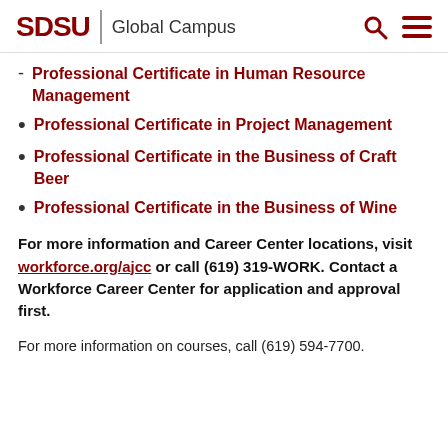SDSU Global Campus
Professional Certificate in Human Resource Management
Professional Certificate in Project Management
Professional Certificate in the Business of Craft Beer
Professional Certificate in the Business of Wine
For more information and Career Center locations, visit workforce.org/ajcc or call (619) 319-WORK. Contact a Workforce Career Center for application and approval first.
For more information on courses, call (619) 594-7700.